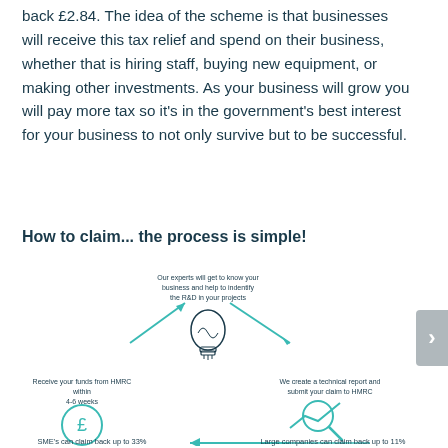back £2.84. The idea of the scheme is that businesses will receive this tax relief and spend on their business, whether that is hiring staff, buying new equipment, or making other investments. As your business will grow you will pay more tax so it's in the government's best interest for your business to not only survive but to be successful.
How to claim... the process is simple!
[Figure (infographic): Circular process infographic showing R&D tax claim steps: 1) Our experts will get to know your business and help to indentify the R&D in your projects (top center, with lightbulb icon and arrows). 2) We create a technical report and submit your claim to HMRC (right, with magnifying glass/chart icon). 3) Receive your funds from HMRC within 4-6 weeks (left, with pound sign circle icon). Bottom: arrow pointing left. Bottom left: SME's can claim back up to 33%. Bottom right: Large companies can claim back up to 11%.]
SME's can claim back up to 33%
Large companies can claim back up to 11%